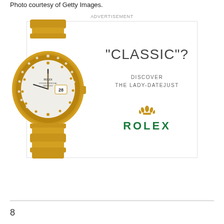Photo courtesy of Getty Images.
[Figure (advertisement): Rolex Lady-Datejust advertisement featuring a gold watch with diamond bezel and mother-of-pearl dial. Text reads: "CLASSIC"? DISCOVER THE LADY-DATEJUST, with Rolex crown logo and ROLEX name in green.]
8